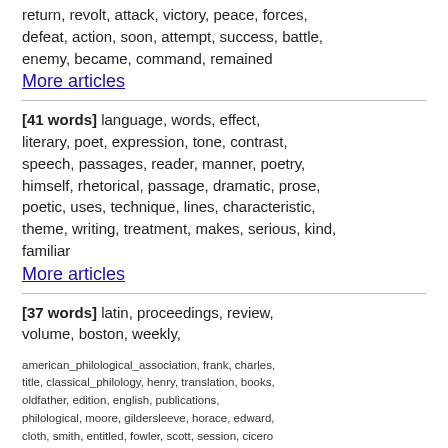return, revolt, attack, victory, peace, forces, defeat, action, soon, attempt, success, battle, enemy, became, command, remained
More articles
[41 words] language, words, effect, literary, poet, expression, tone, contrast, speech, passages, reader, manner, poetry, himself, rhetorical, passage, dramatic, prose, poetic, uses, technique, lines, characteristic, theme, writing, treatment, makes, serious, kind, familiar
More articles
[37 words] latin, proceedings, review, volume, boston, weekly, american_philological_association, frank, charles, title, classical_philology, henry, translation, books, oldfather, edition, english, publications, philological, moore, gildersleeve, horace, edward, cloth, smith, entitled, fowler, scott, session, cicero
More articles
[36 words] political, power, democracy, city, politics, citizens, rule, government,